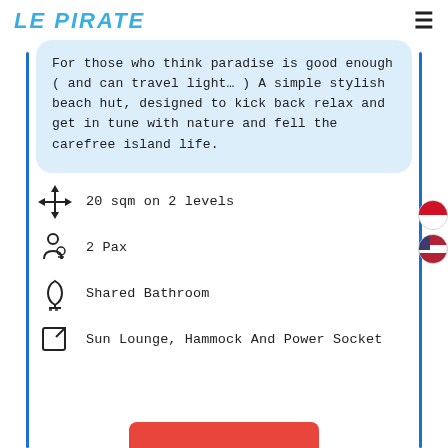LE PIRATE
For those who think paradise is good enough ( and can travel light… ) A simple stylish beach hut, designed to kick back relax and get in tune with nature and fell the carefree island life.
20 sqm on 2 levels
2 Pax
Shared Bathroom
Sun Lounge, Hammock And Power Socket